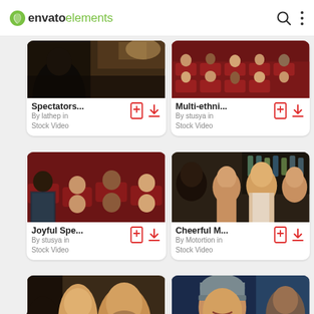[Figure (screenshot): Envato Elements website header with logo, search icon, and menu icon]
[Figure (screenshot): Spectators stock video thumbnail - people in cinema/theater seats]
Spectators...
By lathep in
Stock Video
[Figure (screenshot): Multi-ethni... stock video thumbnail - diverse spectators in theater]
Multi-ethni...
By stusya in
Stock Video
[Figure (screenshot): Joyful Spe... stock video thumbnail - joyful spectators in red theater seats]
Joyful Spe...
By stusya in
Stock Video
[Figure (screenshot): Cheerful M... stock video thumbnail - cheerful group of friends watching something]
Cheerful M...
By Motortion in
Stock Video
[Figure (screenshot): Partially visible bottom-left stock video thumbnail - group of people looking up]
[Figure (screenshot): Partially visible bottom-right stock video thumbnail - man in winter hat at sports event]